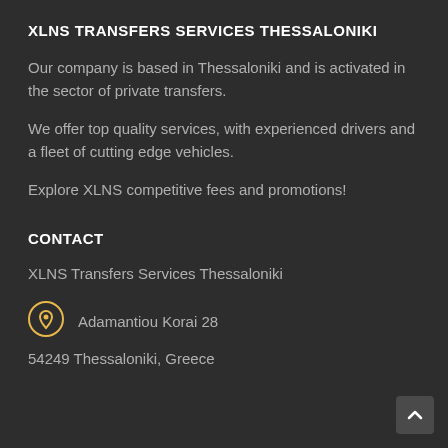XLNS TRANSFERS SERVICES THESSALONIKI
Our company is based in Thessaloniki and is activated in the sector of private transfers.
We offer top quality services, with experienced drivers and a fleet of cutting edge vehicles.
Explore XLNS competitive fees and promotions!
CONTACT
XLNS Transfers Services Thessaloniki
Adamantiou Korai 28
54249 Thessaloniki, Greece